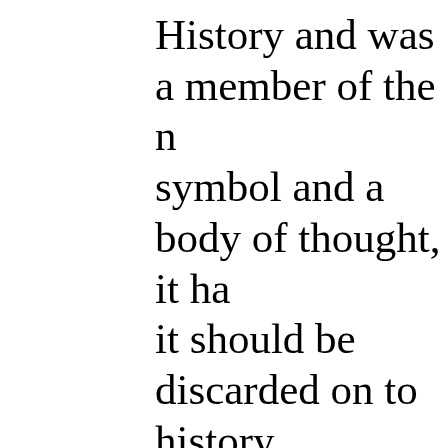History and was a member of the n symbol and a body of thought, it ha it should be discarded on to history forthcoming book, America at the C in shambles" and that its failure has extremes". In its narrowest form, n unilaterally if necessary, to replace once supported regime change in Ir for a New American Century to the efforts to remove Saddam Hussein intellectuals, such as Bill Kristol an Richard Perle and the current defen